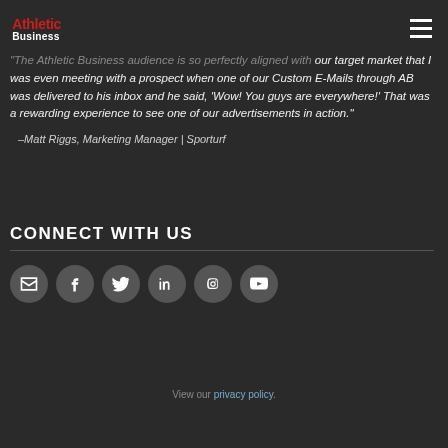WHAT OUR CLIENTS ARE SAYING
[Figure (logo): Athletic Business logo in red with white text on dark background]
"The Athletic Business audience is so perfectly aligned with our target market that I was even meeting with a prospect when one of our Custom E-Mails through AB was delivered to his inbox and he said, 'Wow! You guys are everywhere!' That was a rewarding experience to see one of our advertisements in action."
–Matt Riggs, Marketing Manager | Sporturf
CONNECT WITH US
[Figure (infographic): Row of six social media icon buttons: Email, Facebook, Twitter, LinkedIn, Instagram, YouTube]
View our privacy policy.